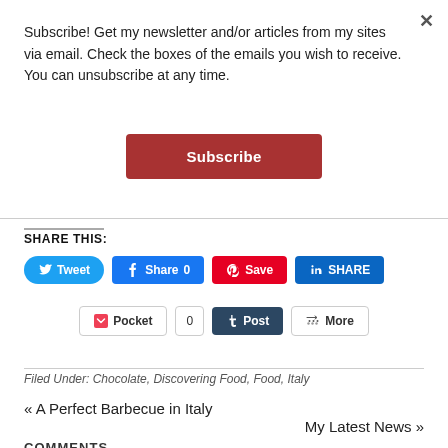×
Subscribe! Get my newsletter and/or articles from my sites via email. Check the boxes of the emails you wish to receive. You can unsubscribe at any time.
Subscribe
SHARE THIS:
Tweet | Share 0 | Save | SHARE
Pocket | 0 | Post | More
Filed Under: Chocolate, Discovering Food, Food, Italy
« A Perfect Barbecue in Italy
My Latest News »
COMMENTS